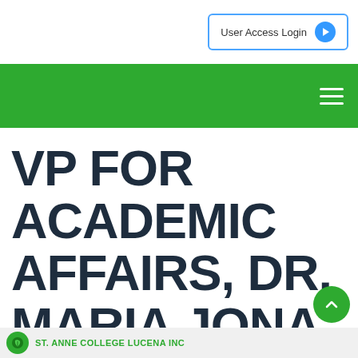User Access Login
VP FOR ACADEMIC AFFAIRS, DR. MARIA JONA DEVELOS-GODOY
St. Anne College Lucena Inc